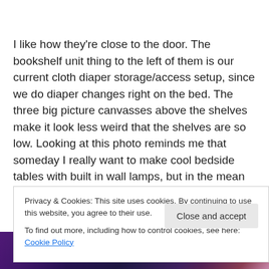I like how they're close to the door. The bookshelf unit thing to the left of them is our current cloth diaper storage/access setup, since we do diaper changes right on the bed. The three big picture canvasses above the shelves make it look less weird that the shelves are so low. Looking at this photo reminds me that someday I really want to make cool bedside tables with built in wall lamps, but in the mean time what we have works. 🙂
Privacy & Cookies: This site uses cookies. By continuing to use this website, you agree to their use.
To find out more, including how to control cookies, see here: Cookie Policy
[Figure (photo): Bottom strip of a movie or entertainment banner image with colorful figures against a dark purple/blue background]